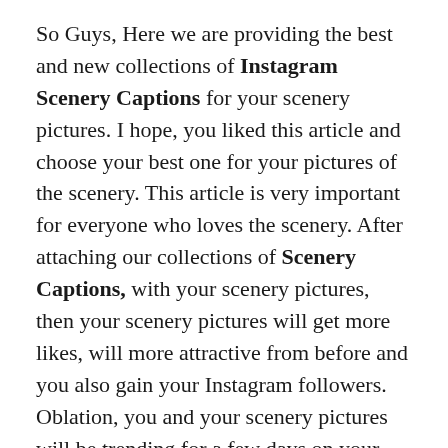So Guys, Here we are providing the best and new collections of Instagram Scenery Captions for your scenery pictures. I hope, you liked this article and choose your best one for your pictures of the scenery. This article is very important for everyone who loves the scenery. After attaching our collections of Scenery Captions, with your scenery pictures, then your scenery pictures will get more likes, will more attractive from before and you also gain your Instagram followers. Oblation, you and your scenery pictures will be trending for a few days on your Instagram account and will be famous on Instagram. People also know you as a scenery lover and every scenery lover person must be starting to follow you to get more Scenery Quotes from you. If you have any special message about Scenery Captions, please comment below, we shall attach your comment with our huge